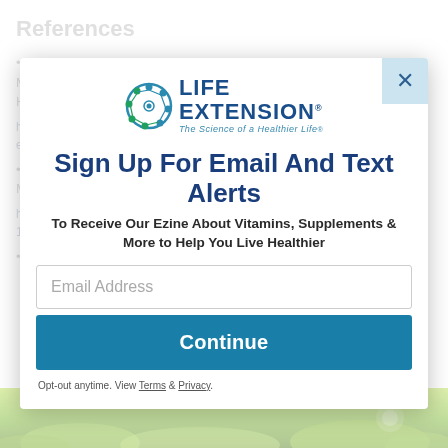References
Bjarnadottir, Adda. "10 Interesting Types of Magnesium (And What to Use Each For)." Healthline, November 2019, https://www.healthline.com/nutrition/10-proven-magnesium-types
Brody, Jane. "Magnesium May Maximize Memory." Memory, 2010, https://www.webmd.com/brain/news/20100127/magnesium-may-improve-memory
Liu, Guosong et al. "Efficacy and Safety of MMFS-01, a Synapse Density Enhancer, for Treating Cognitive Impairment in Older Adults: A Randomized, Double-Blind, Placebo-Controlled Trial." J Alzheimers, October 2015
[Figure (logo): Life Extension logo with circular molecular icon and tagline 'The Science of a Healthier Life']
Sign Up For Email And Text Alerts
To Receive Our Ezine About Vitamins, Supplements & More to Help You Live Healthier
Email Address
Continue
Opt-out anytime. View Terms & Privacy.